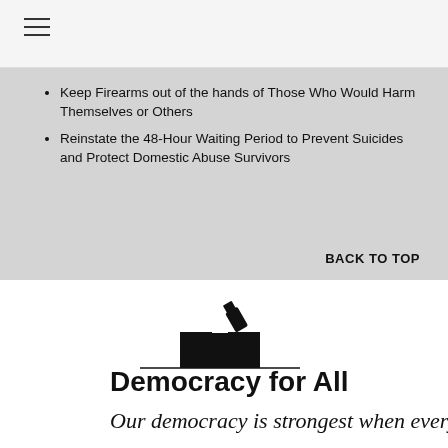≡ (navigation menu)
Keep Firearms out of the hands of Those Who Would Harm Themselves or Others
Reinstate the 48-Hour Waiting Period to Prevent Suicides and Protect Domestic Abuse Survivors
BACK TO TOP
[Figure (illustration): Silhouette of a hand inserting a ballot into a ballot box]
Democracy for All
Our democracy is strongest when everyone is